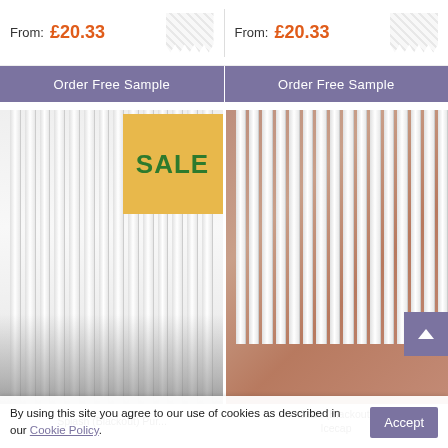From: £20.33
From: £20.33
Order Free Sample
Order Free Sample
[Figure (photo): White vertical blinds in a modern interior room with a lamp, SALE badge overlay]
[Figure (photo): White vertical blinds against a brick wall backdrop with wire chair]
Splash (Blackout) Pur...
Satin (Blackout) Icecap
By using this site you agree to our use of cookies as described in our Cookie Policy.
Accept